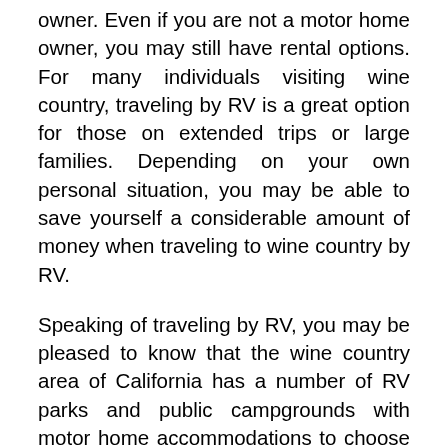owner. Even if you are not a motor home owner, you may still have rental options. For many individuals visiting wine country, traveling by RV is a great option for those on extended trips or large families. Depending on your own personal situation, you may be able to save yourself a considerable amount of money when traveling to wine country by RV.
Speaking of traveling by RV, you may be pleased to know that the wine country area of California has a number of RV parks and public campgrounds with motor home accommodations to choose from. Anyone traveling by RV is encouraged to examine these overnight accommodation options, as they are affordable. In wine country, you can camp at public campgrounds, as well as many national or state parks.
As you can see, there are a number of different ways